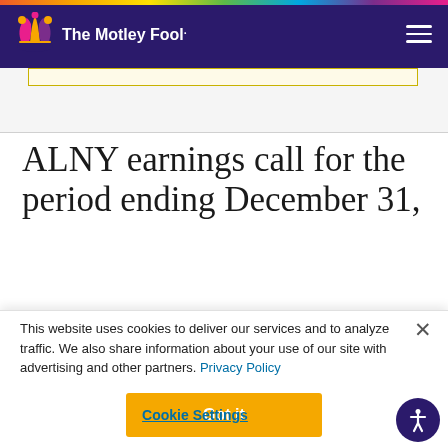The Motley Fool
ALNY earnings call for the period ending December 31,
This website uses cookies to deliver our services and to analyze traffic. We also share information about your use of our site with advertising and other partners. Privacy Policy
Got it
Cookie Settings